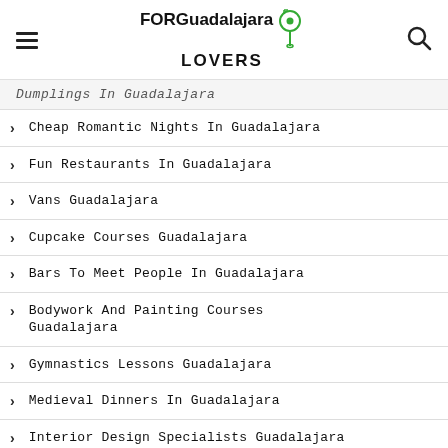FOR Guadalajara LOVERS [logo with map pin]
Dumplings In Guadalajara
Cheap Romantic Nights In Guadalajara
Fun Restaurants In Guadalajara
Vans Guadalajara
Cupcake Courses Guadalajara
Bars To Meet People In Guadalajara
Bodywork And Painting Courses Guadalajara
Gymnastics Lessons Guadalajara
Medieval Dinners In Guadalajara
Interior Design Specialists Guadalajara